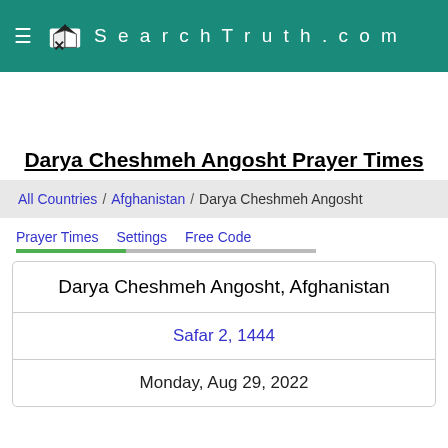SearchTruth.com
Darya Cheshmeh Angosht Prayer Times
All Countries / Afghanistan / Darya Cheshmeh Angosht
Prayer Times
Settings
Free Code
Darya Cheshmeh Angosht, Afghanistan
Safar 2, 1444
Monday, Aug 29, 2022